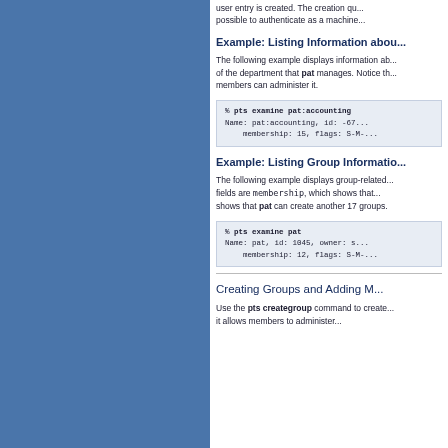user entry is created. The creation qu... possible to authenticate as a machine...
Example: Listing Information abou...
The following example displays information ab... of the department that pat manages. Notice th... members can administer it.
% pts examine pat:accounting
Name: pat:accounting, id: -67...
    membership: 15, flags: S-M-...
Example: Listing Group Informatio...
The following example displays group-related... fields are membership, which shows that... shows that pat can create another 17 groups.
% pts examine pat
Name: pat, id: 1045, owner: s...
    membership: 12, flags: S-M-...
Creating Groups and Adding M...
Use the pts creategroup command to create... it allows members to administer...